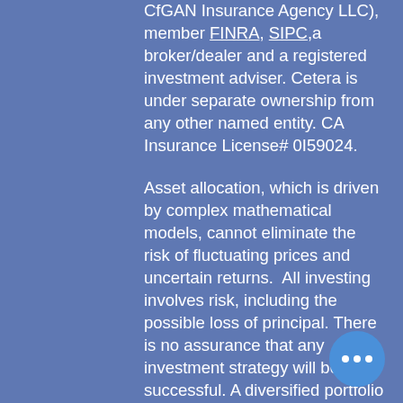CfGAN Insurance Agency LLC), member FINRA, SIPC,a broker/dealer and a registered investment adviser. Cetera is under separate ownership from any other named entity. CA Insurance License# 0I59024.
Asset allocation, which is driven by complex mathematical models, cannot eliminate the risk of fluctuating prices and uncertain returns.  All investing involves risk, including the possible loss of principal. There is no assurance that any investment strategy will be successful. A diversified portfolio does not assure a profit or protect against loss in a declining market.
This site is published for residents of the United States only. Registered representatives of Cetera Advisor Networks may only conduct business with residents of the states and/or